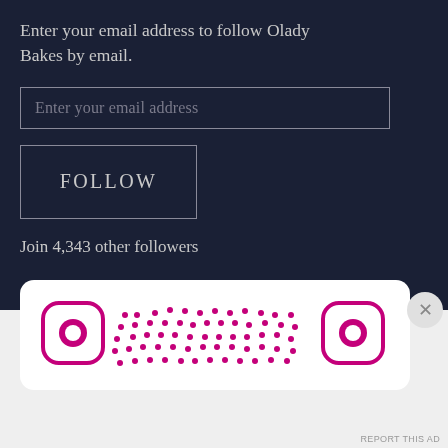Enter your email address to follow Olady Bakes by email.
Enter your email address
FOLLOW
Join 4,343 other followers
[Figure (other): Advertisement QR code banner with pink/magenta Instagram-style QR code on white rounded card background]
Advertisements
REPORT THIS AD